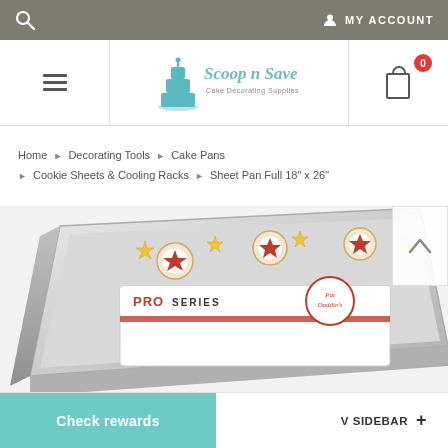Search  MY ACCOUNT
[Figure (logo): Scoop n Save Cake Decorating Supplies logo with teal tiered cake icon]
Home > Decorating Tools > Cake Pans > Cookie Sheets & Cooling Racks > Sheet Pan Full 18" x 26"
[Figure (photo): Silver sheet pan (Full 18x26 inch) with star-decorated cookies on top, Pat Daddio's Pro Series branding label visible]
Check rewards
V SIDEBAR +